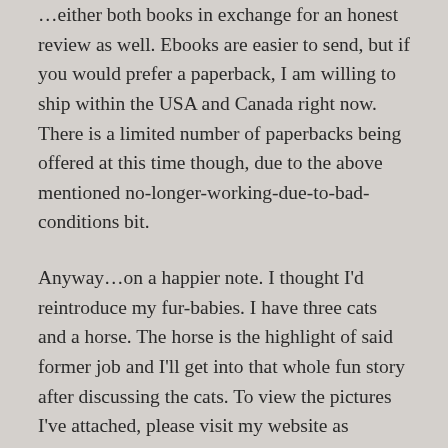…either both books in exchange for an honest review as well. Ebooks are easier to send, but if you would prefer a paperback, I am willing to ship within the USA and Canada right now. There is a limited number of paperbacks being offered at this time though, due to the above mentioned no-longer-working-due-to-bad-conditions bit.
Anyway…on a happier note. I thought I'd reintroduce my fur-babies. I have three cats and a horse. The horse is the highlight of said former job and I'll get into that whole fun story after discussing the cats. To view the pictures I've attached, please visit my website as Goodreads and possibly the other platforms this post will appear on do not like sharing pictures.